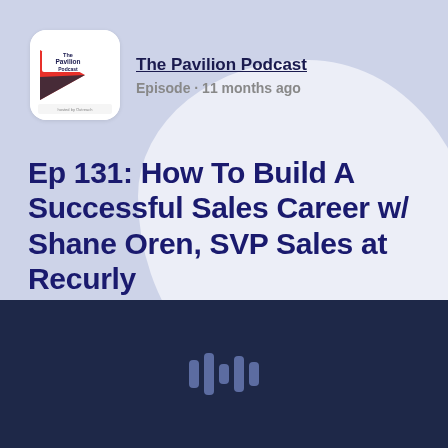[Figure (logo): The Pavilion Podcast logo - white background with red and dark triangular design and text]
The Pavilion Podcast
Episode · 11 months ago
Ep 131: How To Build A Successful Sales Career w/ Shane Oren, SVP Sales at Recurly
[Figure (screenshot): Dark navy podcast player area with waveform/audio bars icon in center]